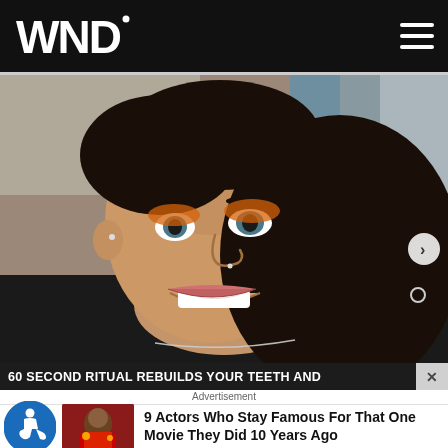WND
[Figure (photo): Close-up selfie photo of a young woman with dark hair, orange/bronze eye makeup, blue eyes, and a bright smile. She is wearing a black top and a delicate necklace. Background shows blurred clothing and items.]
60 SECOND RITUAL REBUILDS YOUR TEETH AND
Advertisement
9 Actors Who Stay Famous For That One Movie They Did 10 Years Ago